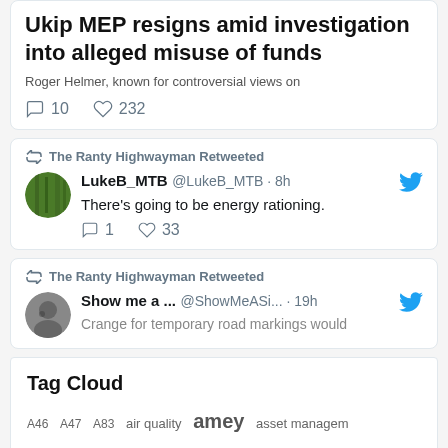Ukip MEP resigns amid investigation into alleged misuse of funds
Roger Helmer, known for controversial views on
10  232
The Ranty Highwayman Retweeted
LukeB_MTB @LukeB_MTB · 8h
There's going to be energy rationing.
1  33
The Ranty Highwayman Retweeted
Show me a ... @ShowMeASi... · 19h
Crange for temporary road markings would
Tag Cloud
A46  A47  A83  air quality  amey  asset managem...  balfour beatty  Balfour Beatty Living Places